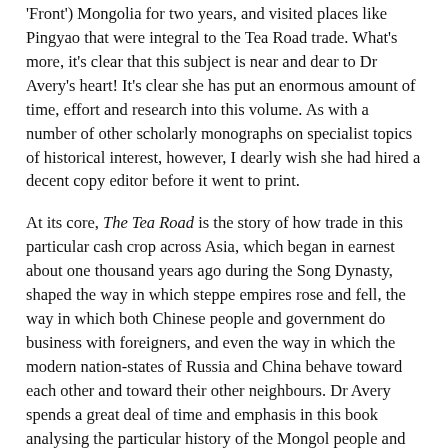'Front') Mongolia for two years, and visited places like Pingyao that were integral to the Tea Road trade. What's more, it's clear that this subject is near and dear to Dr Avery's heart! It's clear she has put an enormous amount of time, effort and research into this volume. As with a number of other scholarly monographs on specialist topics of historical interest, however, I dearly wish she had hired a decent copy editor before it went to print.
At its core, The Tea Road is the story of how trade in this particular cash crop across Asia, which began in earnest about one thousand years ago during the Song Dynasty, shaped the way in which steppe empires rose and fell, the way in which both Chinese people and government do business with foreigners, and even the way in which the modern nation-states of Russia and China behave toward each other and toward their other neighbours. Dr Avery spends a great deal of time and emphasis in this book analysing the particular history of the Mongol people and state, and their particular rôle in shaping the land-based tea trade. Indeed, Avery's general approach is basically to analyse the Tea Road trade from the perspectives of the